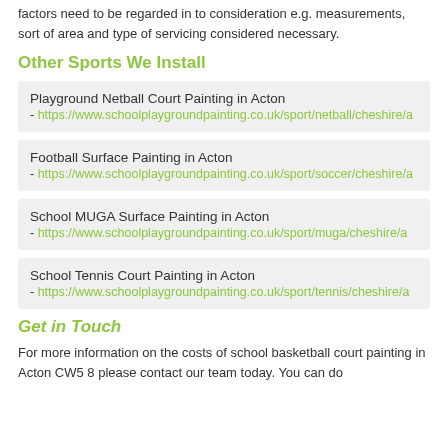factors need to be regarded in to consideration e.g. measurements, sort of area and type of servicing considered necessary.
Other Sports We Install
Playground Netball Court Painting in Acton - https://www.schoolplaygroundpainting.co.uk/sport/netball/cheshire/a
Football Surface Painting in Acton - https://www.schoolplaygroundpainting.co.uk/sport/soccer/cheshire/a
School MUGA Surface Painting in Acton - https://www.schoolplaygroundpainting.co.uk/sport/muga/cheshire/a
School Tennis Court Painting in Acton - https://www.schoolplaygroundpainting.co.uk/sport/tennis/cheshire/a
Get in Touch
For more information on the costs of school basketball court painting in Acton CW5 8 please contact our team today. You can do